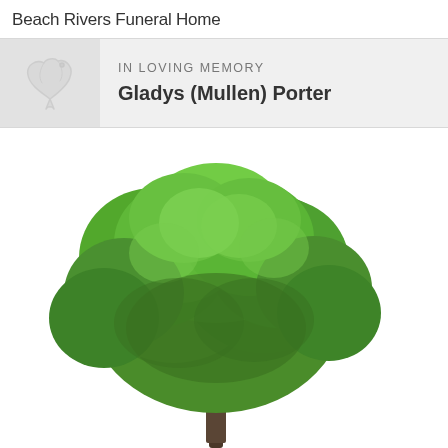Beach Rivers Funeral Home
IN LOVING MEMORY
Gladys (Mullen) Porter
[Figure (illustration): A large leafy green tree with a broad canopy on a white background, used as a decorative memorial image.]